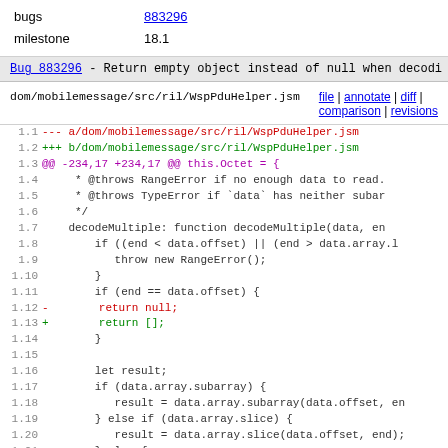| Field | Value |
| --- | --- |
| bugs | 883296 |
| milestone | 18.1 |
Bug 883296 - Return empty object instead of null when decodi...
dom/mobilemessage/src/ril/WspPduHelper.jsm   file | annotate | diff | comparison | revisions
diff code: 1.1 --- a/dom/mobilemessage/src/ril/WspPduHelper.jsm
1.2 +++ b/dom/mobilemessage/src/ril/WspPduHelper.jsm
1.3 @@ -234,17 +234,17 @@ this.Octet = {
1.4     * @throws RangeError if no enough data to read.
1.5     * @throws TypeError if `data` has neither subar
1.6     */
1.7     decodeMultiple: function decodeMultiple(data, en
1.8     if ((end < data.offset) || (end > data.array.l
1.9         throw new RangeError();
1.10     }
1.11     if (end == data.offset) {
1.12 -       return null;
1.13 +       return [];
1.14     }
1.15
1.16     let result;
1.17     if (data.array.subarray) {
1.18         result = data.array.subarray(data.offset, en
1.19     } else if (data.array.slice) {
1.20         result = data.array.slice(data.offset, end);
1.21     } else {